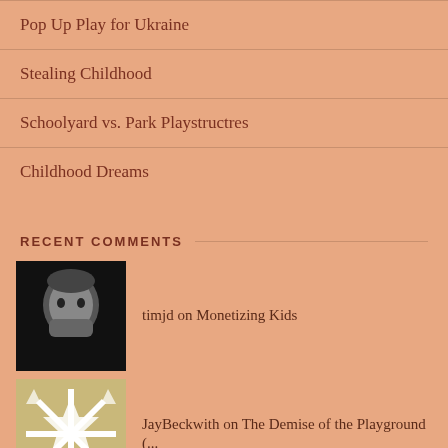Pop Up Play for Ukraine
Stealing Childhood
Schoolyard vs. Park Playstructres
Childhood Dreams
RECENT COMMENTS
timjd on Monetizing Kids
JayBeckwith on The Demise of the Playground (...
John Kuby on The Demise of the Playground (...
dverbeck on The Demise of the Playground (...